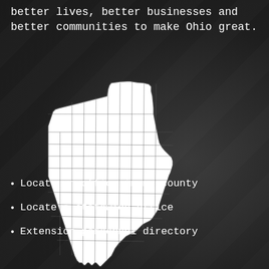better lives, better businesses and better communities to make Ohio great.
[Figure (map): Map of Ohio showing county boundaries, white fill with dark outlines]
Locate an office in my county
Locate a statewide office
Extension personnel directory